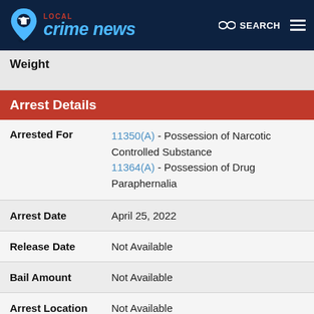Local Crime News — SEARCH
Weight
Arrest Details
| Field | Value |
| --- | --- |
| Arrested For | 11350(A) - Possession of Narcotic Controlled Substance
11364(A) - Possession of Drug Paraphernalia |
| Arrest Date | April 25, 2022 |
| Release Date | Not Available |
| Bail Amount | Not Available |
| Arrest Location | Not Available |
| County of Arrest | Sonoma |
| Source | Sebastopol Police |